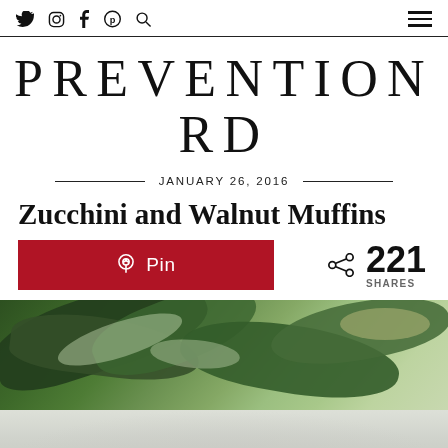Navigation bar with social icons (Twitter, Instagram, Facebook, Pinterest, Search) and hamburger menu
PREVENTION RD
JANUARY 26, 2016
Zucchini and Walnut Muffins
Pin  |  221 SHARES
[Figure (photo): Close-up photo of fresh zucchini and walnuts, green vegetables visible at top with lighter surface below]